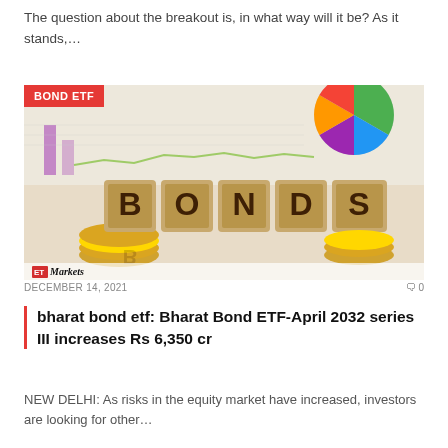The question about the breakout is, in what way will it be? As it stands,…
[Figure (photo): Photo of wooden letter blocks spelling BONDS with gold coins, charts in background. Badge overlay reads BOND ETF. ETMarkets logo at bottom.]
DECEMBER 14, 2021   🗨 0
bharat bond etf: Bharat Bond ETF-April 2032 series III increases Rs 6,350 cr
NEW DELHI: As risks in the equity market have increased, investors are looking for other…